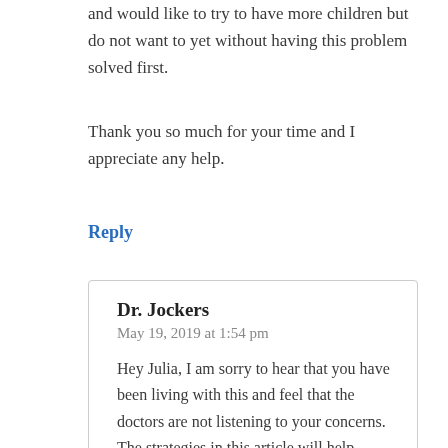and would like to try to have more children but do not want to yet without having this problem solved first.
Thank you so much for your time and I appreciate any help.
Reply
Dr. Jockers
May 19, 2019 at 1:54 pm

Hey Julia, I am sorry to hear that you have been living with this and feel that the doctors are not listening to your concerns. The strategies in this article will help remove parasites from within your